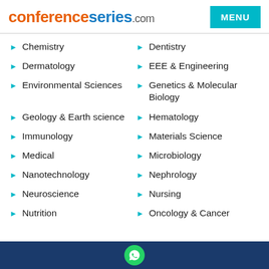conferenceseries.com
Chemistry
Dentistry
Dermatology
EEE & Engineering
Environmental Sciences
Genetics & Molecular Biology
Geology & Earth science
Hematology
Immunology
Materials Science
Medical
Microbiology
Nanotechnology
Nephrology
Neuroscience
Nursing
Nutrition
Oncology & Cancer